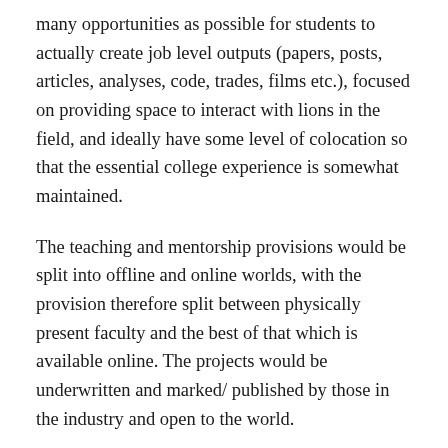many opportunities as possible for students to actually create job level outputs (papers, posts, articles, analyses, code, trades, films etc.), focused on providing space to interact with lions in the field, and ideally have some level of colocation so that the essential college experience is somewhat maintained.
The teaching and mentorship provisions would be split into offline and online worlds, with the provision therefore split between physically present faculty and the best of that which is available online. The projects would be underwritten and marked/ published by those in the industry and open to the world.
Universities shouldn't just graduate students to the world, but also act as knowledge repositories that they share with the world or have their students contribute